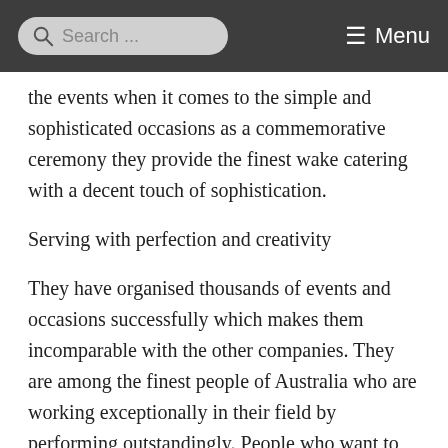Search ... Menu
the events when it comes to the simple and sophisticated occasions as a commemorative ceremony they provide the finest wake catering with a decent touch of sophistication.
Serving with perfection and creativity
They have organised thousands of events and occasions successfully which makes them incomparable with the other companies. They are among the finest people of Australia who are working exceptionally in their field by performing outstandingly. People who want to give their family and loved ones a special treat can contact them to